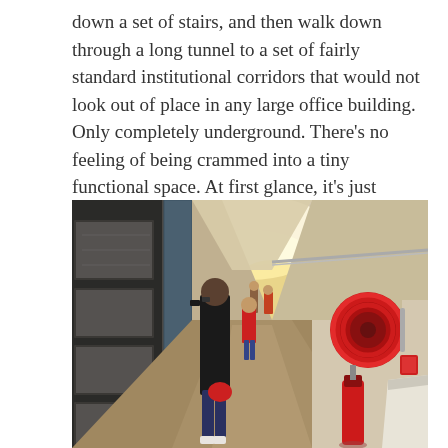down a set of stairs, and then walk down through a long tunnel to a set of fairly standard institutional corridors that would not look out of place in any large office building. Only completely underground. There’s no feeling of being crammed into a tiny functional space. At first glance, it’s just completely normal.
[Figure (photo): Interior photograph of a long underground corridor with reflective flooring. Several people including adults and children are walking through. On the left wall are framed black-and-white photographs. A large red fire hose reel is mounted on the right wall. A red fire extinguisher sits on the floor to the right. The corridor is lit with overhead fluorescent lighting and has a vanishing-point perspective.]